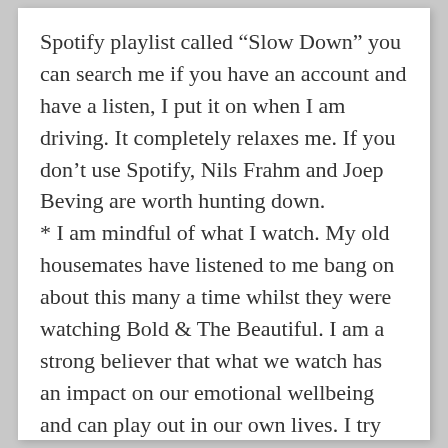Spotify playlist called “Slow Down” you can search me if you have an account and have a listen, I put it on when I am driving. It completely relaxes me. If you don’t use Spotify, Nils Frahm and Joep Beving are worth hunting down.
* I am mindful of what I watch. My old housemates have listened to me bang on about this many a time whilst they were watching Bold & The Beautiful. I am a strong believer that what we watch has an impact on our emotional wellbeing and can play out in our own lives. I try not to watch drama – or any other show